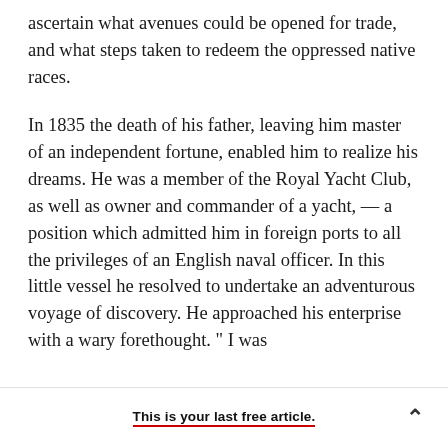ascertain what avenues could be opened for trade, and what steps taken to redeem the oppressed native races.
In 1835 the death of his father, leaving him master of an independent fortune, enabled him to realize his dreams. He was a member of the Royal Yacht Club, as well as owner and commander of a yacht, — a position which admitted him in foreign ports to all the privileges of an English naval officer. In this little vessel he resolved to undertake an adventurous voyage of discovery. He approached his enterprise with a wary forethought. " I was
This is your last free article.